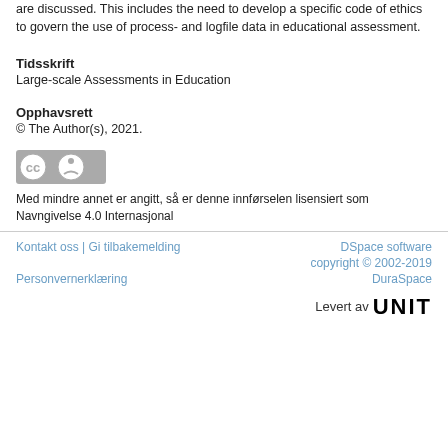are discussed. This includes the need to develop a specific code of ethics to govern the use of process- and logfile data in educational assessment.
Tidsskrift
Large-scale Assessments in Education
Opphavsrett
© The Author(s), 2021.
[Figure (logo): Creative Commons CC BY license badge]
Med mindre annet er angitt, så er denne innførselen lisensiert som Navngivelse 4.0 Internasjonal
Kontakt oss | Gi tilbakemelding   DSpace software copyright © 2002-2019 DuraSpace   Personvernerklæring   Levert av UNIT